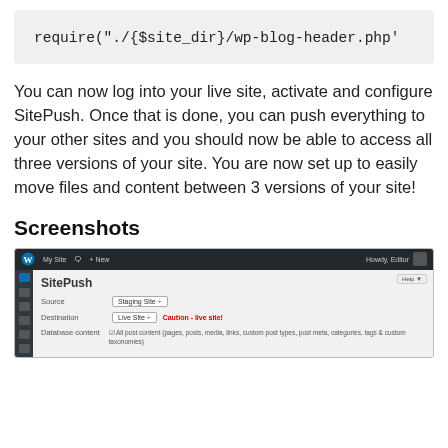require("./{$site_dir}/wp-blog-header.php'
You can now log into your live site, activate and configure SitePush. Once that is done, you can push everything to your other sites and you should now be able to access all three versions of your site. You are now set up to easily move files and content between 3 versions of your site!
Screenshots
[Figure (screenshot): WordPress admin interface showing SitePush plugin with Source set to 'Staging Site', Destination set to 'Live Site' with 'Caution - live site!' warning in red, and Database content checkbox options.]